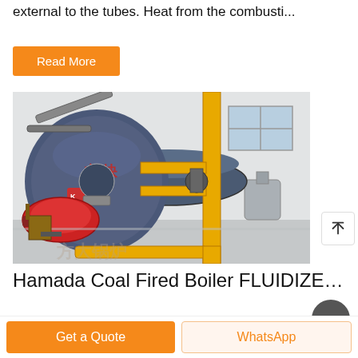external to the tubes. Heat from the combusti...
Read More
[Figure (photo): Industrial boiler installation showing a large cylindrical blue boiler with Chinese characters (方快), a red burner at front, yellow gas pipes, and various piping in an industrial room with white walls and windows.]
Hamada Coal Fired Boiler FLUIDIZED...
Get a Quote
WhatsApp